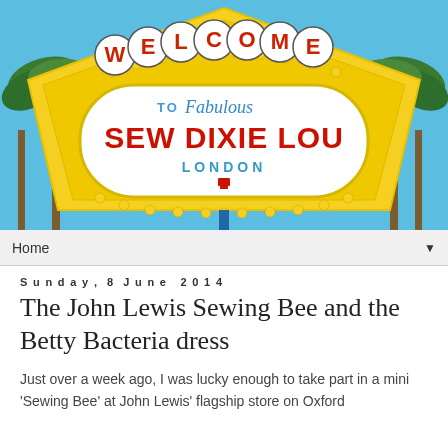[Figure (photo): Las Vegas-style welcome sign redesigned to read 'Welcome to Fabulous SEW DIXIE LOU LONDON' with red letters on white circular medallions, blue script for 'Fabulous', bold red for 'SEW DIXIE LOU', blue for 'LONDON', on a yellow diamond shape with palm trees and blue sky in background.]
Home ▼
Sunday, 8 June 2014
The John Lewis Sewing Bee and the Betty Bacteria dress
Just over a week ago, I was lucky enough to take part in a mini 'Sewing Bee' at John Lewis' flagship store on Oxford